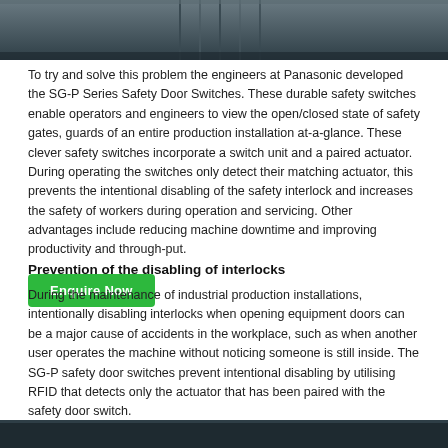[Figure (photo): Top portion of a photo showing industrial door/gate hardware — dark metal frame with vertical slats or panels, background partially visible]
To try and solve this problem the engineers at Panasonic developed the SG-P Series Safety Door Switches. These durable safety switches enable operators and engineers to view the open/closed state of safety gates, guards of an entire production installation at-a-glance. These clever safety switches incorporate a switch unit and a paired actuator. During operating the switches only detect their matching actuator, this prevents the intentional disabling of the safety interlock and increases the safety of workers during operation and servicing. Other advantages include reducing machine downtime and improving productivity and through-put.
Enquire Now
Prevention of the disabling of interlocks
During the maintenance of industrial production installations, intentionally disabling interlocks when opening equipment doors can be a major cause of accidents in the workplace, such as when another user operates the machine without noticing someone is still inside. The SG-P safety door switches prevent intentional disabling by utilising RFID that detects only the actuator that has been paired with the safety door switch.
[Figure (photo): Bottom strip of a dark-background photo, bottom edge of the page]